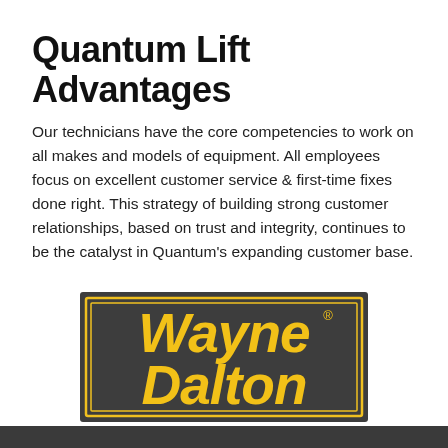Quantum Lift Advantages
Our technicians have the core competencies to work on all makes and models of equipment. All employees focus on excellent customer service & first-time fixes done right. This strategy of building strong customer relationships, based on trust and integrity, continues to be the catalyst in Quantum's expanding customer base.
[Figure (logo): Wayne Dalton logo: dark grey rectangular background with yellow double-line border, bold yellow italic text reading 'Wayne Dalton' with registered trademark symbol]